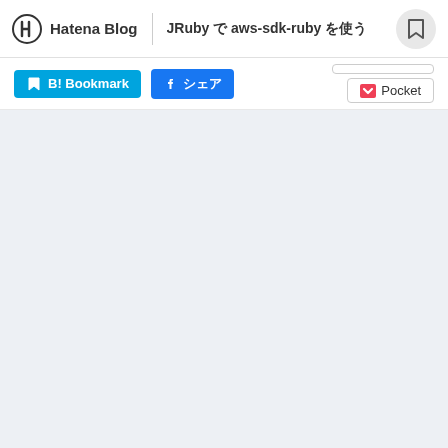Hatena Blog | JRuby で aws-sdk-ruby を使う
[Figure (screenshot): Social sharing buttons: B! Bookmark (blue), Facebook share (blue), tweet button (outlined), Pocket button (outlined with red Pocket logo)]